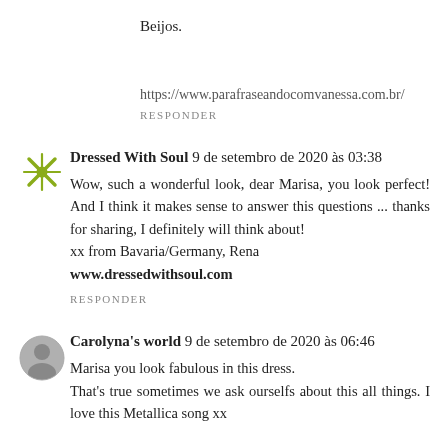Beijos.
https://www.parafraseandocomvanessa.com.br/
RESPONDER
Dressed With Soul 9 de setembro de 2020 às 03:38
Wow, such a wonderful look, dear Marisa, you look perfect! And I think it makes sense to answer this questions ... thanks for sharing, I definitely will think about!
xx from Bavaria/Germany, Rena
www.dressedwithsoul.com
RESPONDER
Carolyna's world 9 de setembro de 2020 às 06:46
Marisa you look fabulous in this dress.
That's true sometimes we ask ourselfs about this all things. I love this Metallica song xx